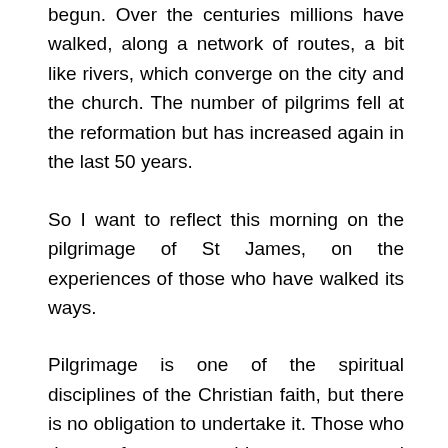begun. Over the centuries millions have walked, along a network of routes, a bit like rivers, which converge on the city and the church. The number of pilgrims fell at the reformation but has increased again in the last 50 years.
So I want to reflect this morning on the pilgrimage of St James, on the experiences of those who have walked its ways.
Pilgrimage is one of the spiritual disciplines of the Christian faith, but there is no obligation to undertake it. Those who do are often prompted by a very personal sense of call, perhaps on the death of a loved one, or following a point of change in their life, sometimes a healing.